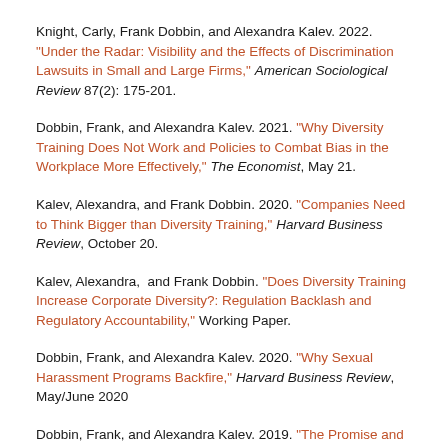Knight, Carly, Frank Dobbin, and Alexandra Kalev. 2022. "Under the Radar: Visibility and the Effects of Discrimination Lawsuits in Small and Large Firms," American Sociological Review 87(2): 175-201.
Dobbin, Frank, and Alexandra Kalev. 2021. "Why Diversity Training Does Not Work and Policies to Combat Bias in the Workplace More Effectively," The Economist, May 21.
Kalev, Alexandra, and Frank Dobbin. 2020. "Companies Need to Think Bigger than Diversity Training," Harvard Business Review, October 20.
Kalev, Alexandra,  and Frank Dobbin. "Does Diversity Training Increase Corporate Diversity?: Regulation Backlash and Regulatory Accountability," Working Paper.
Dobbin, Frank, and Alexandra Kalev. 2020. "Why Sexual Harassment Programs Backfire," Harvard Business Review, May/June 2020
Dobbin, Frank, and Alexandra Kalev. 2019. "The Promise and Peril of